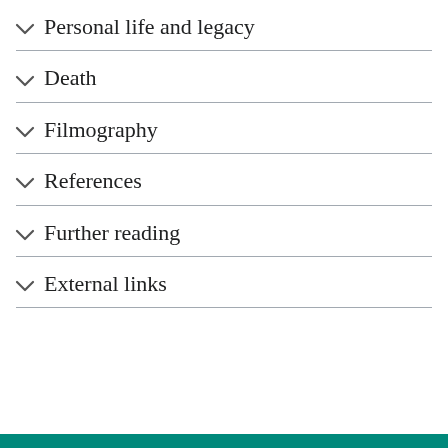Personal life and legacy
Death
Filmography
References
Further reading
External links